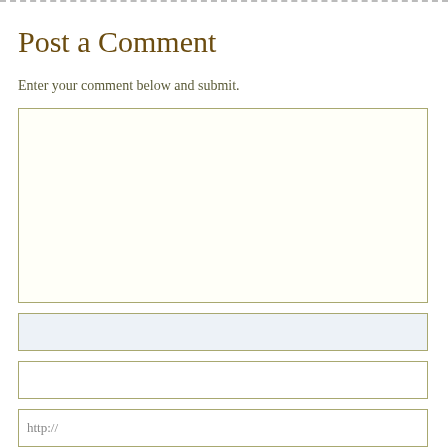Post a Comment
Enter your comment below and submit.
[Figure (screenshot): Comment form with textarea, two input fields, and a URL field with placeholder 'http://']